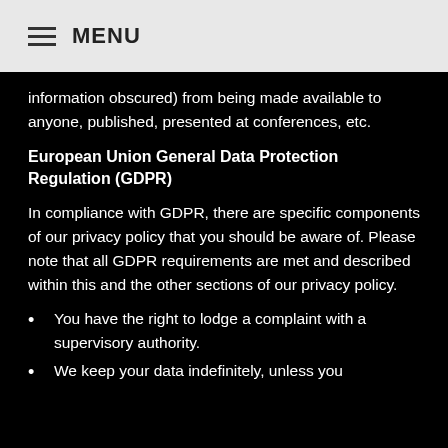MENU
information obscured) from being made available to anyone, published, presented at conferences, etc.
European Union General Data Protection Regulation (GDPR)
In compliance with GDPR, there are specific components of our privacy policy that you should be aware of. Please note that all GDPR requirements are met and described within this and the other sections of our privacy policy.
You have the right to lodge a complaint with a supervisory authority.
We keep your data indefinitely, unless you